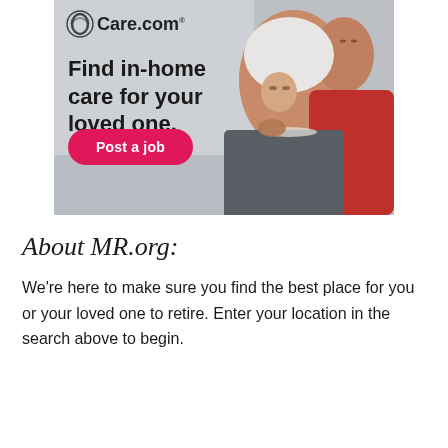[Figure (photo): Care.com advertisement banner showing an elderly Asian woman with white hair smiling, being assisted by a younger person. Text overlay reads 'Find in-home care for your loved one.' with a pink 'Post a job' button and the Care.com logo.]
About MR.org:
We're here to make sure you find the best place for you or your loved one to retire. Enter your location in the search above to begin.